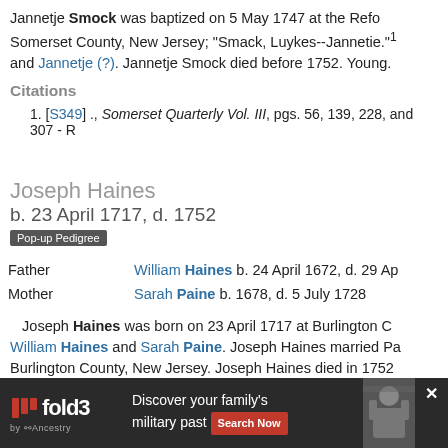Jannetje Smock was baptized on 5 May 1747 at the Reformed Church, Somerset County, New Jersey; "Smack, Luykes--Jannetie."1 and Jannetje (?). Jannetje Smock died before 1752. Young.
Citations
1. [S349] ., Somerset Quarterly Vol. III, pgs. 56, 139, 228, and 307 - R
Joseph Haines
b. 23 April 1717, d. 1752
Pop-up Pedigree
| Role | Person |
| --- | --- |
| Father | William Haines b. 24 April 1672, d. 29 Ap |
| Mother | Sarah Paine b. 1678, d. 5 July 1728 |
Joseph Haines was born on 23 April 1717 at Burlington County. William Haines and Sarah Paine. Joseph Haines married Pa Burlington County, New Jersey. Joseph Haines died in 1752 34 years.
Family  Patience Prickitt b. circa 1720